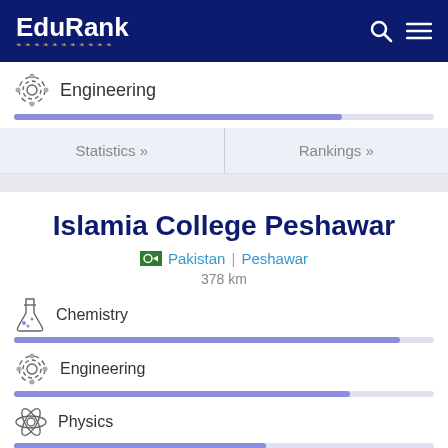EduRank
Engineering
Statistics »
Rankings »
Islamia College Peshawar
Pakistan | Peshawar
378 km
Chemistry
Engineering
Physics